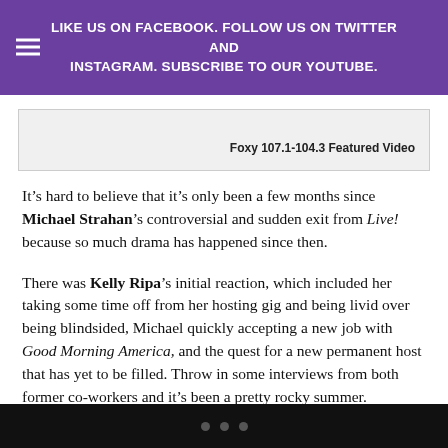LIKE US ON FACEBOOK. FOLLOW US ON TWITTER AND INSTAGRAM. SUBSCRIBE TO OUR YOUTUBE.
[Figure (other): Foxy 107.1-104.3 Featured Video embed placeholder box]
It’s hard to believe that it’s only been a few months since Michael Strahan’s controversial and sudden exit from Live! because so much drama has happened since then.
There was Kelly Ripa’s initial reaction, which included her taking some time off from her hosting gig and being livid over being blindsided, Michael quickly accepting a new job with Good Morning America, and the quest for a new permanent host that has yet to be filled. Throw in some interviews from both former co-workers and it’s been a pretty rocky summer.